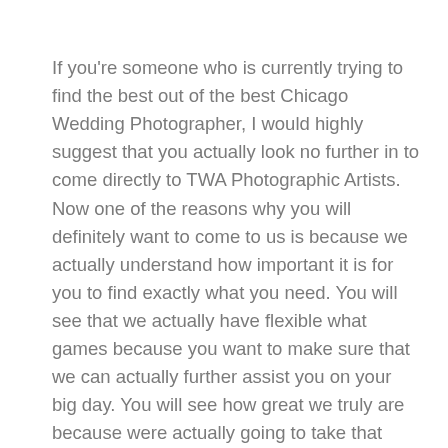If you're someone who is currently trying to find the best out of the best Chicago Wedding Photographer, I would highly suggest that you actually look no further in to come directly to TWA Photographic Artists. Now one of the reasons why you will definitely want to come to us is because we actually understand how important it is for you to find exactly what you need. You will see that we actually have flexible what games because you want to make sure that we can actually further assist you on your big day. You will see how great we truly are because were actually going to take that extra mile to truly provide you and show you how great we truly are. You will not have any kind of unsatisfying services when you come directly to